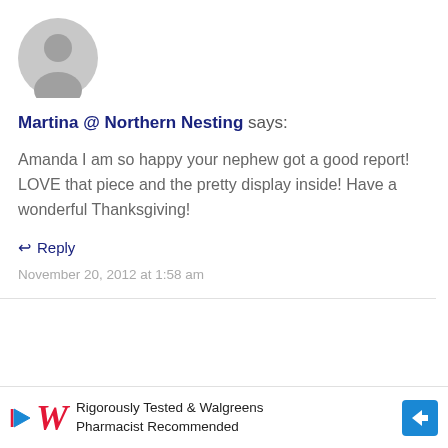[Figure (illustration): Gray default user avatar circle icon]
Martina @ Northern Nesting says:
Amanda I am so happy your nephew got a good report!
LOVE that piece and the pretty display inside! Have a wonderful Thanksgiving!
↩ Reply
November 20, 2012 at 1:58 am
[Figure (illustration): Gray default user avatar circle icon (partially visible at bottom)]
Calyp
[Figure (infographic): Walgreens advertisement banner: Rigorously Tested & Walgreens Pharmacist Recommended]